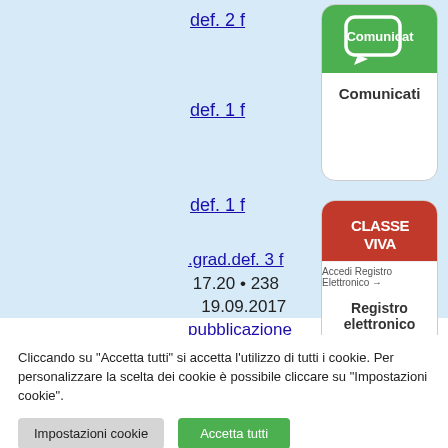def. 2 f
def. 1 f
def. 1 f
[Figure (illustration): Comunicati button card with green header showing speech bubble icon and label 'Comunicati']
.grad.def. 3 f
17.20 • 238
19.09.2017
pubblicazione
[Figure (illustration): ClasseViva register card with red background logo and 'Accedi Registro Elettronico' arrow label, text 'Registro elettronico']
Cliccando su "Accetta tutti" si accetta l'utilizzo di tutti i cookie. Per personalizzare la scelta dei cookie è possibile cliccare su "Impostazioni cookie".
Impostazioni cookie
Accetta tutti